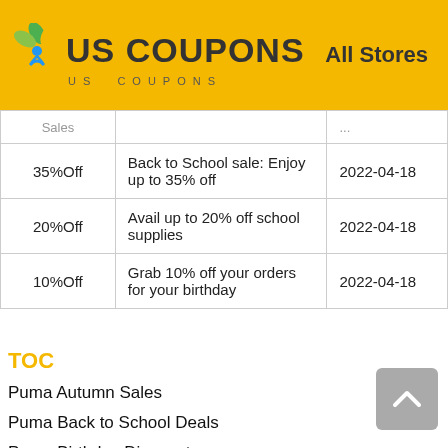[Figure (logo): US Coupons logo with colorful leaf/person icon, large bold text 'US COUPONS' and smaller spaced text 'US COUPONS' below]
All Stores
| Discount | Description | Date |
| --- | --- | --- |
| Sales | ... | ... |
| 35%Off | Back to School sale: Enjoy up to 35% off | 2022-04-18 |
| 20%Off | Avail up to 20% off school supplies | 2022-04-18 |
| 10%Off | Grab 10% off your orders for your birthday | 2022-04-18 |
TOC
Puma Autumn Sales
Puma Back to School Deals
Puma Birthday Discount
Puma Black Friday Deals
Puma Boxing Day Sale